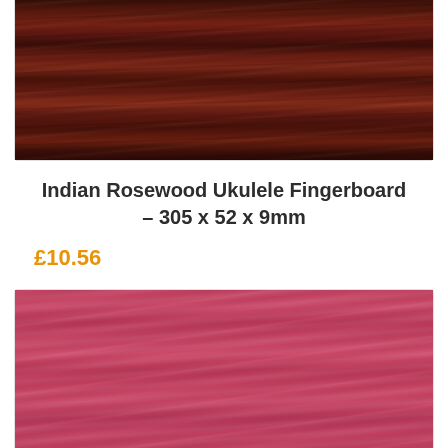[Figure (photo): Close-up photo of Indian Rosewood wood grain texture, dark reddish-brown color with horizontal grain lines]
Indian Rosewood Ukulele Fingerboard – 305 x 52 x 9mm
£10.56
[Figure (photo): Photo of pink/red colored wood grain texture, likely a dyed or naturally pink wood species]